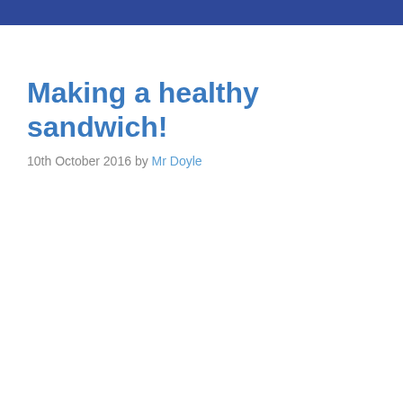Making a healthy sandwich!
10th October 2016 by Mr Doyle